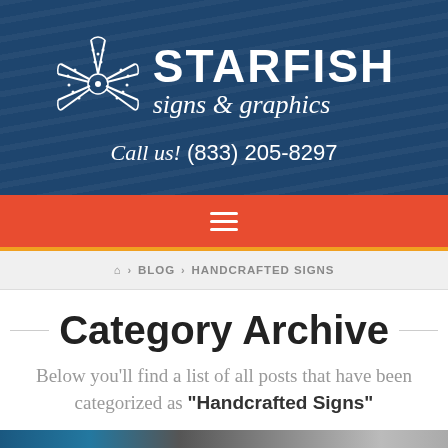[Figure (logo): Starfish Signs & Graphics logo with starfish illustration and company name on dark blue textured background, with phone number Call us! (833) 205-8297]
≡
🏠 > BLOG > HANDCRAFTED SIGNS
Category Archive
Below you'll find a list of all posts that have been categorized as "Handcrafted Signs"
[Figure (photo): Partial photo of handcrafted sign metalwork at bottom of page]